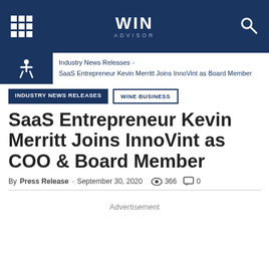WIN ADVISOR - navigation header with grid icon, WIN ADVISOR logo, and search icon
Industry News Releases › SaaS Entrepreneur Kevin Merritt Joins InnoVint as Board Member
INDUSTRY NEWS RELEASES  WINE BUSINESS
SaaS Entrepreneur Kevin Merritt Joins InnoVint as COO & Board Member
By Press Release - September 30, 2020  366  0
Advertisement